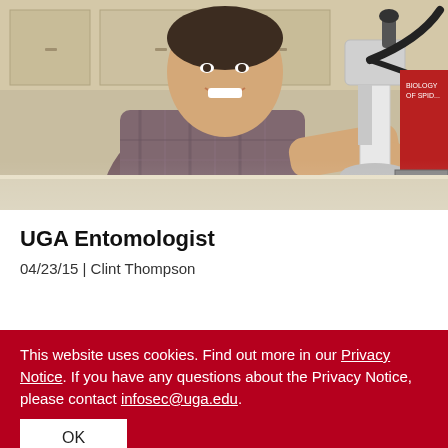[Figure (photo): A smiling man in a plaid shirt sitting at a lab bench operating a microscope, with lab cabinets and equipment visible in the background.]
UGA Entomologist
04/23/15 | Clint Thompson
This website uses cookies. Find out more in our Privacy Notice. If you have any questions about the Privacy Notice, please contact infosec@uga.edu.
OK